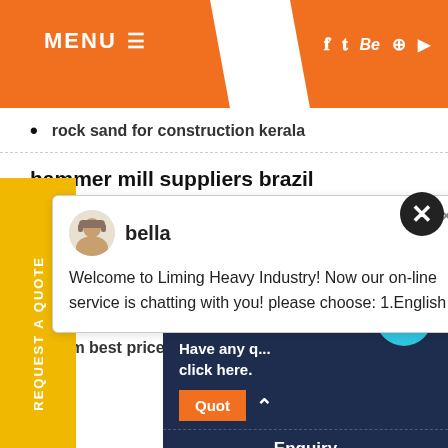MENU  [nav icons: f, twitter, Be, pinterest, youtube]
rock sand for construction kerala
hammer mill suppliers brazil
[Figure (photo): Chat popup overlay showing avatar of 'bella' and welcome message from Liming Heavy Industry]
operating procedure hand grinding
palla palla vibrating ball mill
mobile portable rock crusher
hsm best price professional high e...
[Figure (infographic): Right panel with 'Have any... click here.' text, Quote button, Enquiry bar, drobilkalm bar, notification badge '1']